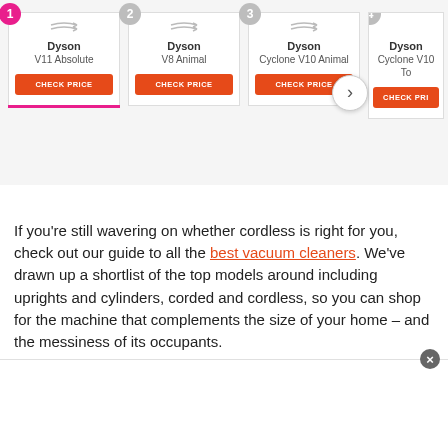[Figure (screenshot): Product comparison carousel showing 4 Dyson vacuum cleaner cards with CHECK PRICE buttons. Card 1: Dyson V11 Absolute, Card 2: Dyson V8 Animal, Card 3: Dyson Cyclone V10 Animal, Card 4: Dyson Cyclone V10 T (partially visible). A next arrow navigation button is visible on the right.]
If you’re still wavering on whether cordless is right for you, check out our guide to all the best vacuum cleaners. We’ve drawn up a shortlist of the top models around including uprights and cylinders, corded and cordless, so you can shop for the machine that complements the size of your home – and the messiness of its occupants.
[Figure (screenshot): Advertisement overlay panel at the bottom of the page with a close (x) button in the top-right corner.]